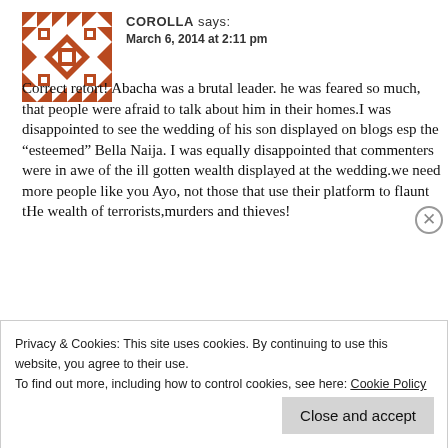[Figure (illustration): Geometric quilt-pattern avatar icon in brown/rust color]
COROLLA says:
March 6, 2014 at 2:11 pm
Correct retort! Abacha was a brutal leader. he was feared so much, that people were afraid to talk about him in their homes.I was disappointed to see the wedding of his son displayed on blogs esp the “esteemed” Bella Naija. I was equally disappointed that commenters were in awe of the ill gotten wealth displayed at the wedding.we need more people like you Ayo, not those that use their platform to flaunt tHe wealth of terrorists,murders and thieves!
Privacy & Cookies: This site uses cookies. By continuing to use this website, you agree to their use.
To find out more, including how to control cookies, see here: Cookie Policy
Close and accept